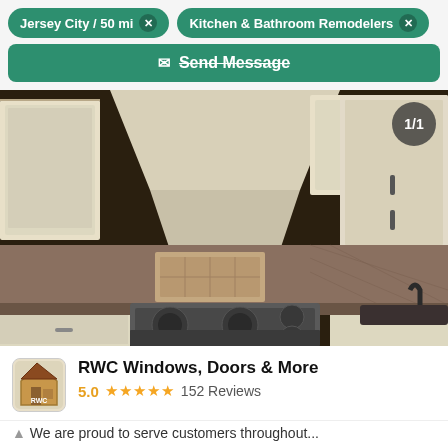Jersey City / 50 mi × | Kitchen & Bathroom Remodelers ×
Send Message
[Figure (photo): Kitchen remodel photo showing cream/white cabinetry with ornate molding, a stainless steel range with hood, granite countertops, tile backsplash, and a sink. Counter shows '1/1' overlay badge.]
RWC Windows, Doors & More
5.0 ★★★★★ 152 Reviews